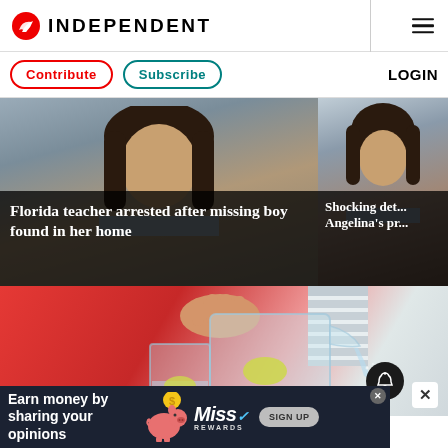INDEPENDENT
Contribute  Subscribe  LOGIN
[Figure (photo): Florida teacher arrested after missing boy found in her home — news article card with portrait photo of a dark-haired woman]
Florida teacher arrested after missing boy found in her home
[Figure (photo): Shocking details about Angelina's pr... — partial headline with photo]
Shocking det... Angelina's pr...
[Figure (photo): Woman in red top pouring water from a glass pitcher into a glass with lemon slices]
[Figure (infographic): Advertisement banner: Earn money by sharing your opinions — MissRewards sign up ad with piggy bank mascot]